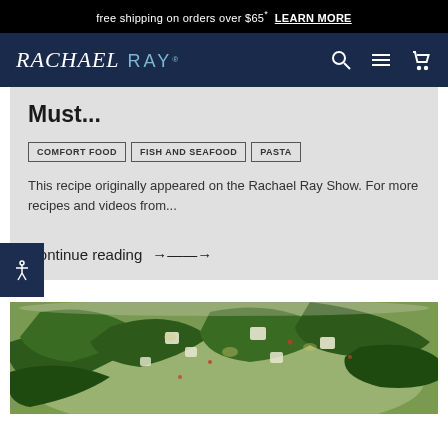free shipping on orders over $65* LEARN MORE
[Figure (logo): Rachael Ray logo with stylized script and navigation icons (search, menu, cart) on navy background]
Must...
COMFORT FOOD
FISH AND SEAFOOD
PASTA
This recipe originally appeared on the Rachael Ray Show. For more recipes and videos from...
Continue reading →
[Figure (photo): Close-up photo of a food dish with greens, vegetables, and what appears to be a seafood or pasta dish with chopped ingredients]